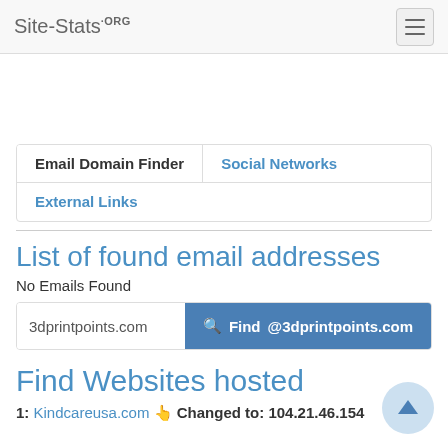Site-Stats.ORG
Email Domain Finder
Social Networks
External Links
List of found email addresses
No Emails Found
3dprintpoints.com   Find @3dprintpoints.com
Find Websites hosted
1: Kindcareusa.com  Changed to: 104.21.46.154